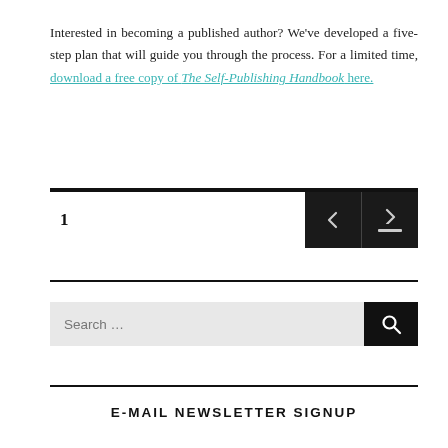Interested in becoming a published author? We've developed a five-step plan that will guide you through the process. For a limited time, download a free copy of The Self-Publishing Handbook here.
[Figure (other): Pagination bar with page number 1 and left/right navigation arrow buttons on dark background]
[Figure (other): Search input field with placeholder 'Search ...' and dark search button with magnifying glass icon]
E-MAIL NEWSLETTER SIGNUP